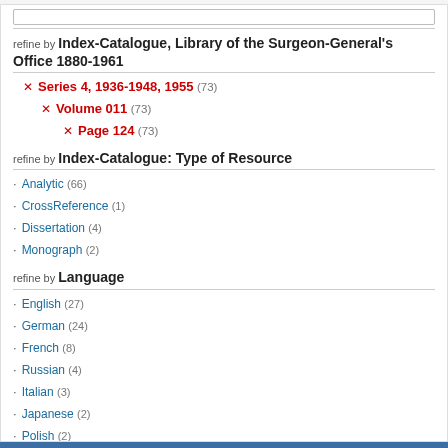refine by Index-Catalogue, Library of the Surgeon-General's Office 1880-1961
× Series 4, 1936-1948, 1955 (73)
× Volume 011 (73)
× Page 124 (73)
refine by Index-Catalogue: Type of Resource
· Analytic (66)
· CrossReference (1)
· Dissertation (4)
· Monograph (2)
refine by Language
· English (27)
· German (24)
· French (8)
· Russian (4)
· Italian (3)
· Japanese (2)
· Polish (2)
· Hungarian (1)
· Portuguese (1)
· Spanish (1)